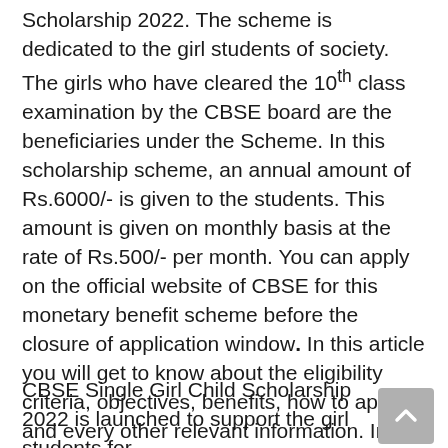Scholarship 2022. The scheme is dedicated to the girl students of society. The girls who have cleared the 10th class examination by the CBSE board are the beneficiaries under the Scheme. In this scholarship scheme, an annual amount of Rs.6000/- is given to the students. This amount is given on monthly basis at the rate of Rs.500/- per month. You can apply on the official website of CBSE for this monetary benefit scheme before the closure of application window. In this article you will get to know about the eligibility criteria, objectives, benefits, how to apply and every other relevant information. In order to be benefitted from this Scheme, go through this article.
CBSE Single Girl Child Scholarship 2022 is launched to support the girl students for